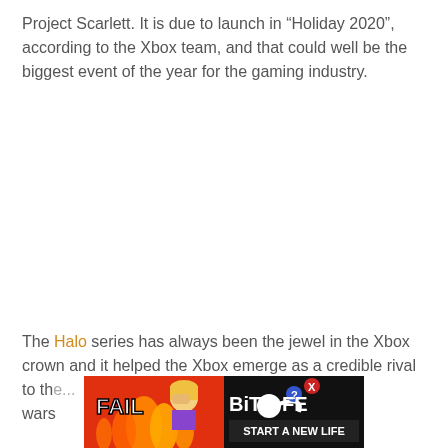Project Scarlett. It is due to launch in “Holiday 2020”, according to the Xbox team, and that could well be the biggest event of the year for the gaming industry.
The Halo series has always been the jewel in the Xbox crown and it helped the Xbox emerge as a credible rival to th... ble wars...
[Figure (other): Advertisement banner for BitLife game app showing cartoon fail scene with fire, blonde character and BitLife logo with 'Start a New Life' text]